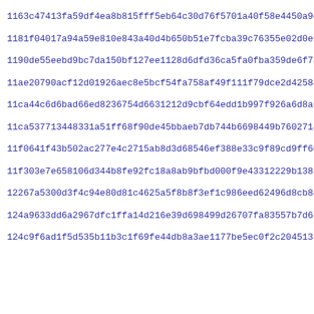1163c47413fa59df4ea8b815fff5eb64c30d76f5701a40f58e4450a9c50289
1181f04017a94a59e810e843a40d4b650b51e7fcba39c76355e02d0e9cb6a
1190de55eebd9bc7da150bf127ee1128d6dfd36ca5fa0fba359de6f737fa9
11ae20790acf12d01926aec8e5bcf54fa758af49f111f79dce2d42584df80
11ca44c6d6bad66ed8236754d6631212d9cbf64edd1b997f926a6d8a6fbc2
11ca537713448331a51ff68f90de45bbaeb7db744b6698449b760271447d4
11f0641f43b502ac277e4c2715ab8d3d68546ef388e33c9f89cd9ff60783a
11f303e7e658106d344b8fe92fc18a8ab9bfbd000f9e43312229b13858a64
12267a5300d3f4c94e80d81c4625a5f8b8f3ef1c986eed62496d8cb840c22
124a9633dd6a2967dfc1ffa14d216e39d698499d26707fa83557b7d6fd830
124c9f6ad1f5d535b11b3c1f69fe44db8a3ae1177be5ec0f2c204513b8951